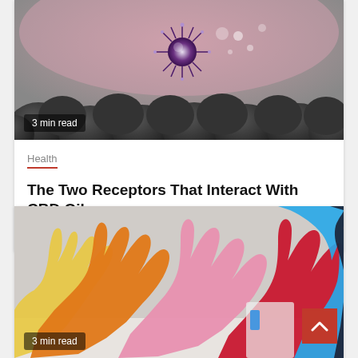[Figure (photo): Microscopic view of a virus particle above dark rounded cell structures on a pink/grey background. Badge reads '3 min read'.]
Health
The Two Receptors That Interact With CBD Oil
5 months ago  Richard Rice
[Figure (photo): Multiple colorful latex/nitrile gloves (yellow, orange, pink, red, blue, black) raised upward against a light background. Badge reads '3 min read'.]